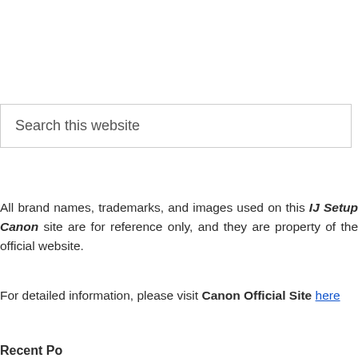[Figure (other): Search box with placeholder text 'Search this website']
All brand names, trademarks, and images used on this IJ Setup Canon site are for reference only, and they are property of the official website.
For detailed information, please visit Canon Official Site here